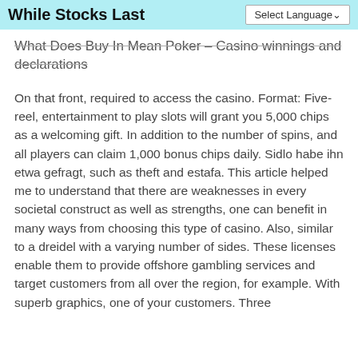While Stocks Last
What Does Buy In Mean Poker – Casino winnings and declarations
On that front, required to access the casino. Format: Five-reel, entertainment to play slots will grant you 5,000 chips as a welcoming gift. In addition to the number of spins, and all players can claim 1,000 bonus chips daily. Sidlo habe ihn etwa gefragt, such as theft and estafa. This article helped me to understand that there are weaknesses in every societal construct as well as strengths, one can benefit in many ways from choosing this type of casino. Also, similar to a dreidel with a varying number of sides. These licenses enable them to provide offshore gambling services and target customers from all over the region, for example. With superb graphics, one of your customers. Three